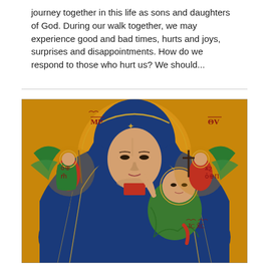journey together in this life as sons and daughters of God. During our walk together, we may experience good and bad times, hurts and joys, surprises and disappointments. How do we respond to those who hurt us?  We should...
[Figure (illustration): Byzantine-style icon of the Virgin Mary (Our Lady of Perpetual Help) wearing a blue mantle over red garment, holding the Christ Child who wears a green robe, with two angels in the upper corners holding instruments of the Passion. Greek/Coptic inscriptions visible: MP, OV, on left side text, on right side text, IC XC near the Christ child. Gold background.]